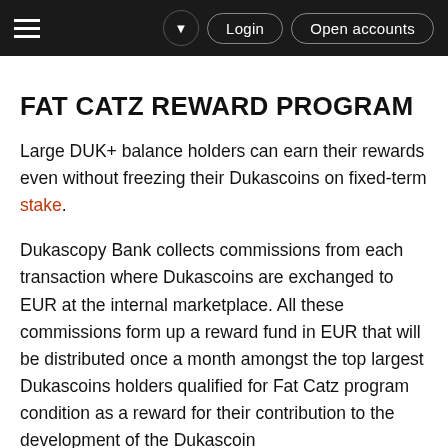≡  ▼  Login  Open accounts
FAT CATZ REWARD PROGRAM
Large DUK+ balance holders can earn their rewards even without freezing their Dukascoins on fixed-term stake.
Dukascopy Bank collects commissions from each transaction where Dukascoins are exchanged to EUR at the internal marketplace. All these commissions form up a reward fund in EUR that will be distributed once a month amongst the top largest Dukascoins holders qualified for Fat Catz program condition as a reward for their contribution to the development of the Dukascoin